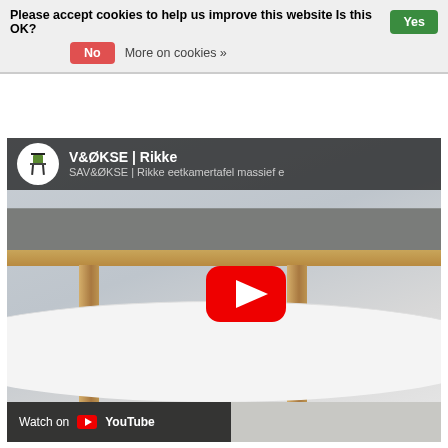Please accept cookies to help us improve this website Is this OK?  Yes  No  More on cookies »
[Figure (screenshot): YouTube video thumbnail showing a modern dining table (SAV&ØKSE | Rikke) with a grey top and light oak wooden legs on a white circular platform. A YouTube play button is visible in the center. A 'Watch on YouTube' bar appears at the bottom left.]